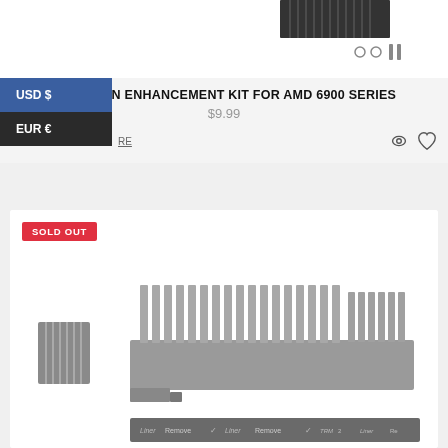[Figure (screenshot): Top bar with partial product image (heatsink fins visible at top right) and icon bar with eye and heart icons]
ICY VISION ENHANCEMENT KIT FOR AMD 6900 SERIES
$9.99
USD $
EUR €
SOLD OUT
[Figure (photo): Product photo showing aluminum heatsink fins kit for AMD 6900 series GPU — a large main heatsink with fins and a smaller secondary heatsink, plus a thermal pad strip with 'Remove Liner' labeling]